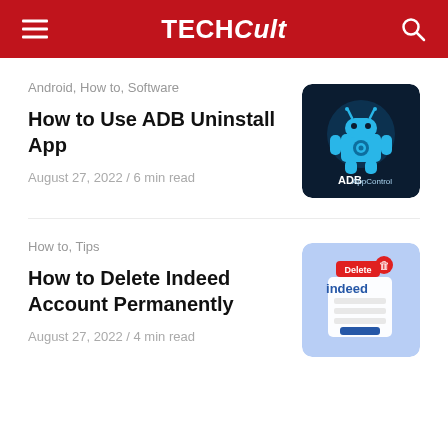TECHCult
Android, How to, Software
How to Use ADB Uninstall App
August 27, 2022 / 6 min read
[Figure (illustration): ADB AppControl app icon on dark navy background with Android robot and gear symbol]
How to, Tips
How to Delete Indeed Account Permanently
August 27, 2022 / 4 min read
[Figure (illustration): Indeed account deletion illustration with Delete button and trash icon on blue background]